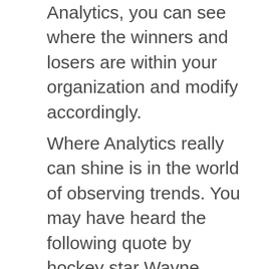Analytics, you can see where the winners and losers are within your organization and modify accordingly.
Where Analytics really can shine is in the world of observing trends. You may have heard the following quote by hockey star Wayne Gretzky: “Some people skate to the puck. I skate to where the puck is going to be.” Being able to go not only to where the customers are, but where they are going to be will propel your business to the top of its industry and provide you with an enviable reputation for being ahead of the innovation curve. And while it sounds nice, it ain’t easy—if it were, wouldn’t everyone be doing it by now?  The sheer quantity of data online will force you to think in terms of strategizing where you will